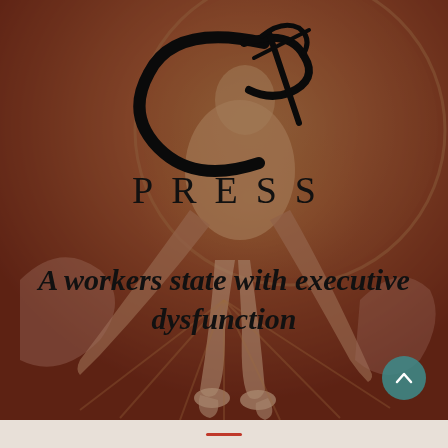[Figure (illustration): Background illustration showing William Blake's 'The Ancient of Days' painting — a figure leaning from a circle with arms outstretched downward, rendered in warm earthy reds, oranges, yellows and browns. A teal/dark red gradient overlay tints the entire image.]
[Figure (logo): Circular Press logo — stylized calligraphic 'CP' monogram in black with flowing script curves, above the word PRESS in wide-spaced serif capitals]
A workers state with executive dysfunction